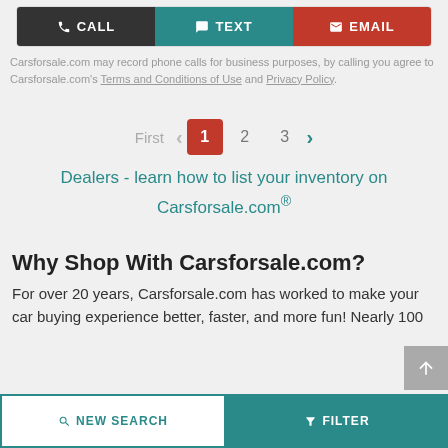[Figure (screenshot): Three action buttons: CALL (dark/black), TEXT (teal), EMAIL (red)]
Carsforsale.com may record phone calls for business purposes, by calling you agree to Carsforsale.com's Terms and Conditions of Use and Privacy Policy.
[Figure (infographic): Pagination controls: First < 1 2 3 >]
Dealers - learn how to list your inventory on Carsforsale.com®
Why Shop With Carsforsale.com?
For over 20 years, Carsforsale.com has worked to make your car buying experience better, faster, and more fun! Nearly 100
[Figure (screenshot): Bottom navigation bar with NEW SEARCH and FILTER buttons]